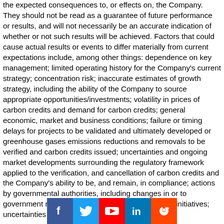the expected consequences to, or effects on, the Company. They should not be read as a guarantee of future performance or results, and will not necessarily be an accurate indication of whether or not such results will be achieved. Factors that could cause actual results or events to differ materially from current expectations include, among other things: dependence on key management; limited operating history for the Company's current strategy; concentration risk; inaccurate estimates of growth strategy, including the ability of the Company to source appropriate opportunities/investments; volatility in prices of carbon credits and demand for carbon credits; general economic, market and business conditions; failure or timing delays for projects to be validated and ultimately developed or greenhouse gases emissions reductions and removals to be verified and carbon credits issued; uncertainties and ongoing market developments surrounding the regulatory framework applied to the verification, and cancellation of carbon credits and the Company's ability to be, and remain, in compliance; actions by governmental authorities, including changes in or to government regulation, taxation and carbon pricing initiatives; uncertainties
[Figure (other): Social media icons bar: Facebook, Twitter, YouTube, LinkedIn, Reddit]